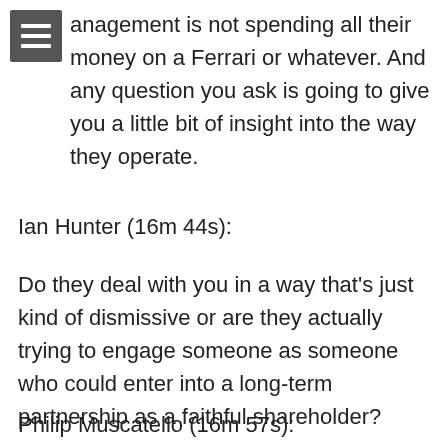anagement is not spending all their money on a Ferrari or whatever. And any question you ask is going to give you a little bit of insight into the way they operate.
Ian Hunter (16m 44s):
Do they deal with you in a way that’s just kind of dismissive or are they actually trying to engage someone as someone who could enter into a long-term partnership as a faithful shareholder?
Philip Muscatello (16m 57s):